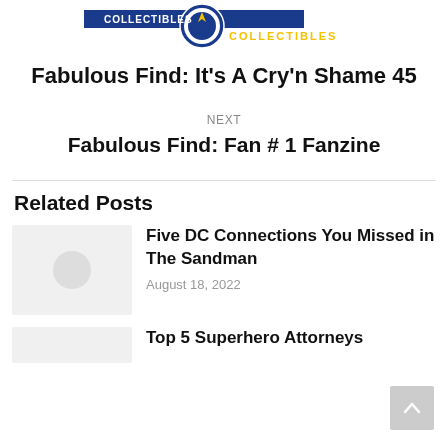[Figure (logo): Logo for a collectibles website with blue and yellow design and text 'COLLECTIBLES']
Fabulous Find: It's A Cry'n Shame 45
NEXT
Fabulous Find: Fan # 1 Fanzine
Related Posts
Five DC Connections You Missed in The Sandman
August 18, 2022
Top 5 Superhero Attorneys